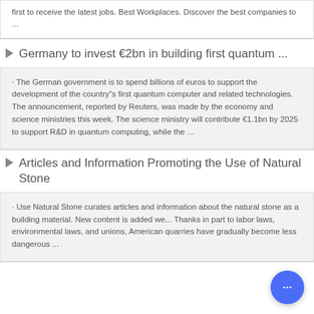first to receive the latest jobs. Best Workplaces. Discover the best companies to ...
Germany to invest €2bn in building first quantum ...
· The German government is to spend billions of euros to support the development of the country"s first quantum computer and related technologies. The announcement, reported by Reuters, was made by the economy and science ministries this week. The science ministry will contribute €1.1bn by 2025 to support R&D in quantum computing, while the ...
Articles and Information Promoting the Use of Natural Stone
· Use Natural Stone curates articles and information about the natural stone as a building material. New content is added we... Thanks in part to labor laws, environmental laws, and unions, American quarries have gradually become less dangerous ...